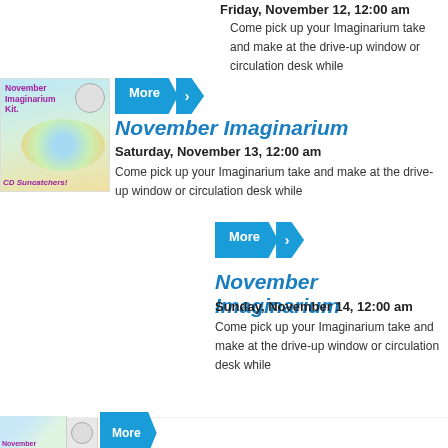Friday, November 12, 12:00 am
Come pick up your Imaginarium take and make at the drive-up window or circulation desk while
[Figure (illustration): November Imaginarium Kit photo showing CD Suncatchers craft kit with colorful circles]
November Imaginarium
Saturday, November 13, 12:00 am
Come pick up your Imaginarium take and make at the drive-up window or circulation desk while
November Imaginarium
Sunday, November 14, 12:00 am
Come pick up your Imaginarium take and make at the drive-up window or circulation desk while